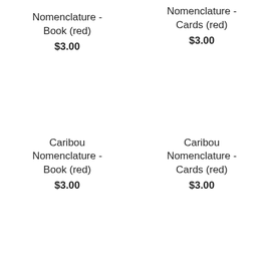Nomenclature - Book (red)
$3.00
Nomenclature - Cards (red)
$3.00
Caribou Nomenclature - Book (red)
$3.00
Caribou Nomenclature - Cards (red)
$3.00